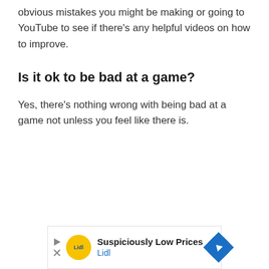obvious mistakes you might be making or going to YouTube to see if there's any helpful videos on how to improve.
Is it ok to be bad at a game?
Yes, there's nothing wrong with being bad at a game not unless you feel like there is.
[Figure (other): Advertisement banner for Lidl with text 'Suspiciously Low Prices' and Lidl logo with blue navigation arrow icon]